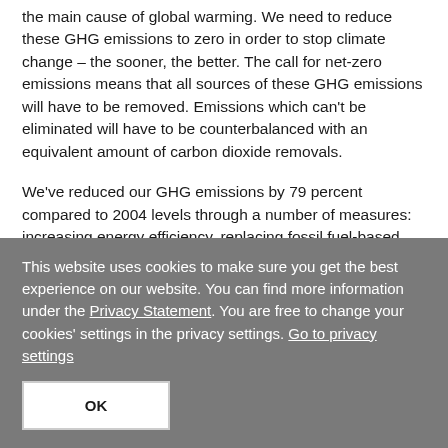the main cause of global warming. We need to reduce these GHG emissions to zero in order to stop climate change – the sooner, the better. The call for net-zero emissions means that all sources of these GHG emissions will have to be removed. Emissions which can't be eliminated will have to be counterbalanced with an equivalent amount of carbon dioxide removals.
We've reduced our GHG emissions by 79 percent compared to 2004 levels through a number of measures: increasing energy efficiency, replacing fossil fuel-based heating systems
This website uses cookies to make sure you get the best experience on our website. You can find more information under the Privacy Statement. You are free to change your cookies' settings in the privacy settings. Go to privacy settings
OK